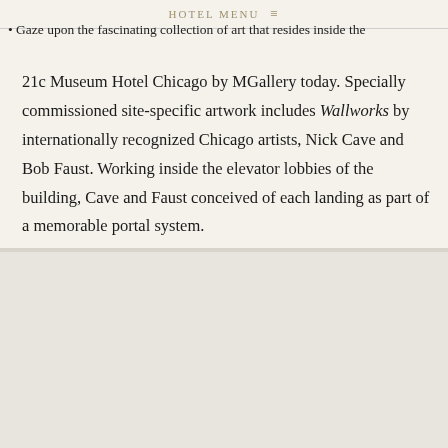HOTEL MENU ≡
• Gaze upon the fascinating collection of art that resides inside the
21c Museum Hotel Chicago by MGallery today. Specially commissioned site-specific artwork includes Wallworks by internationally recognized Chicago artists, Nick Cave and Bob Faust. Working inside the elevator lobbies of the building, Cave and Faust conceived of each landing as part of a memorable portal system.
[Figure (illustration): Advertisement banner for 'Full American Story' with orange-tinted building photo background and yellow geometric accent. Text reads 'JOIN US IN TELLING THE' above 'Full American Story' in large serif font, with a blue 'LEARN MORE' button below.]